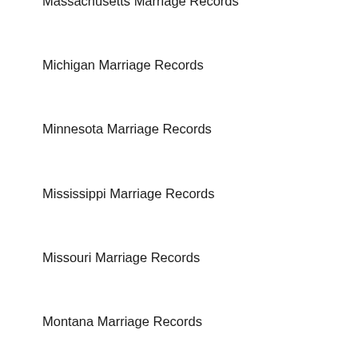Massachusetts Marriage Records
Michigan Marriage Records
Minnesota Marriage Records
Mississippi Marriage Records
Missouri Marriage Records
Montana Marriage Records
Nebraska Marriage Records
Nevada Marriage Records
New Hampshire Marriage Records
New Jersey Marriage Records
New Mexico Marriage Records
New York Marriage Records